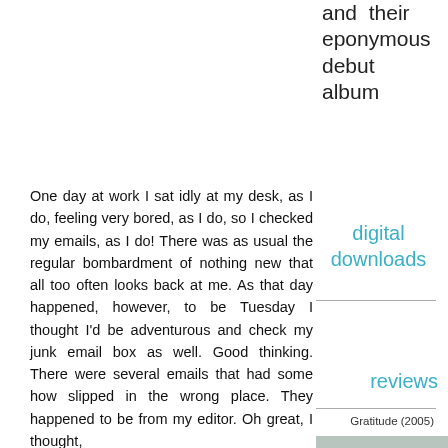and their eponymous debut album
digital downloads
reviews
Gratitude (2005)
One day at work I sat idly at my desk, as I do, feeling very bored, as I do, so I checked my emails, as I do! There was as usual the regular bombardment of nothing new that all too often looks back at me. As that day happened, however, to be Tuesday I thought I'd be adventurous and check my junk email box as well. Good thinking. There were several emails that had some how slipped in the wrong place. They happened to be from my editor. Oh great, I thought, something of interest has t...
[Figure (illustration): Album cover for Gratitude (2005) showing the word GRATITUDE in red/coral letters with decorative elements on a muted teal/blue background]